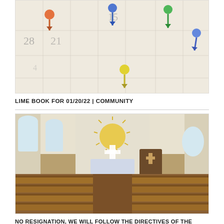[Figure (photo): Close-up photo of a calendar with colorful push pins (orange, blue, green, yellow, blue) stuck into various dates including 28, 21, 15]
LIME BOOK FOR 01/20/22 | COMMUNITY
[Figure (photo): Interior of a wooden church with rows of wooden pews, a central aisle leading to an altar with a cross and golden sunburst decoration, arched windows on sides]
NO RESIGNATION, WE WILL FOLLOW THE DIRECTIVES OF THE MINISTRY OF HEALTH – FBC NEWS